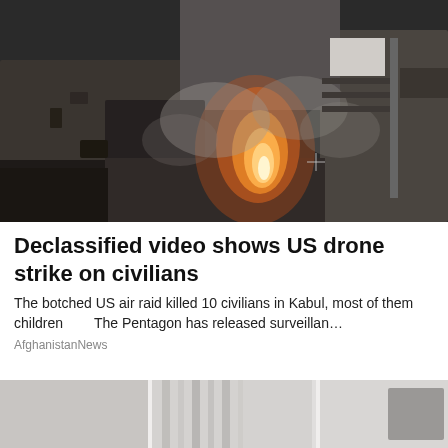[Figure (photo): Aerial night-vision or infrared drone footage showing buildings from above with a bright orange/red fire/explosion visible in the center and smoke drifting across the scene. The image is dark with grey tones depicting rooftops and structures.]
Declassified video shows US drone strike on civilians
The botched US air raid killed 10 civilians in Kabul, most of them children       The Pentagon has released surveillan…
AfghanistanNews
[Figure (photo): Partial view of a second news card thumbnail at the bottom of the page, showing a blurry grey/white image, partially visible.]